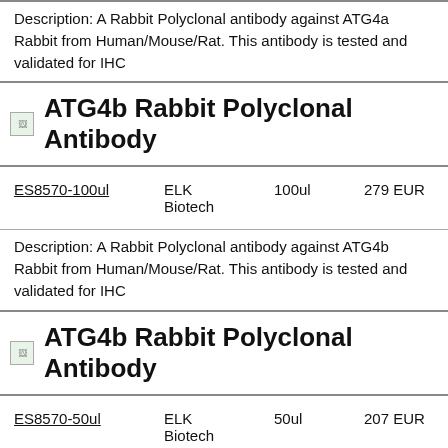Description: A Rabbit Polyclonal antibody against ATG4a Rabbit from Human/Mouse/Rat. This antibody is tested and validated for IHC
ATG4b Rabbit Polyclonal Antibody
| Product | Supplier | Size | Price |
| --- | --- | --- | --- |
| ES8570-100ul | ELK Biotech | 100ul | 279 EUR |
Description: A Rabbit Polyclonal antibody against ATG4b Rabbit from Human/Mouse/Rat. This antibody is tested and validated for IHC
ATG4b Rabbit Polyclonal Antibody
| Product | Supplier | Size | Price |
| --- | --- | --- | --- |
| ES8570-50ul | ELK Biotech | 50ul | 207 EUR |
Description: A Rabbit Polyclonal antibody against ATG4b Rabbit from Human/Mouse/Rat. This antibody is tested and validated for IHC